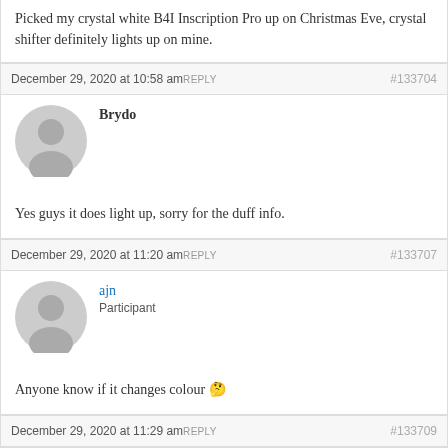Picked my crystal white B4I Inscription Pro up on Christmas Eve, crystal shifter definitely lights up on mine.
December 29, 2020 at 10:58 am REPLY #133704
Brydo
Yes guys it does light up, sorry for the duff info.
December 29, 2020 at 11:20 am REPLY #133707
ajn Participant
Anyone know if it changes colour 🤔
December 29, 2020 at 11:29 am REPLY #133709